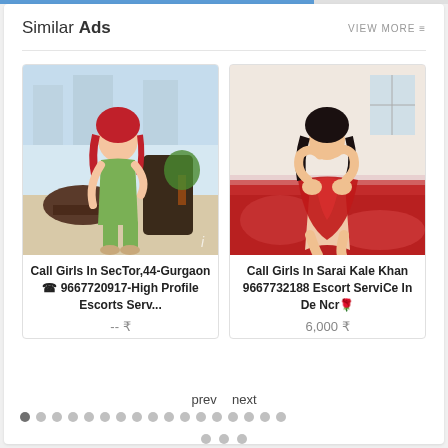Similar Ads    VIEW MORE
[Figure (photo): Woman in green outfit sitting at outdoor table with red hair]
Call Girls In SecTor,44-Gurgaon ☎ 9667720917-High Profile Escorts Serv...
-- ₹
[Figure (photo): Woman in red draped fabric posed on red bedding]
Call Girls In Sarai Kale Khan 9667732188 Escort ServiCe In De Ncr🌹
6,000 ₹
prev  next